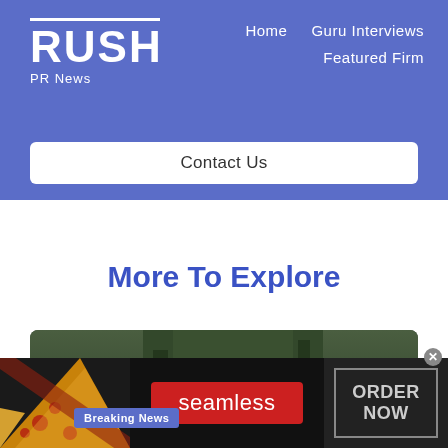RUSH PR News — Home | Guru Interviews | Featured Firm | Contact Us
More To Explore
[Figure (photo): Photo of a grey dog (puppy) in a dark grassy/forest background, with a Breaking News badge overlay]
[Figure (infographic): Advertisement banner: pizza image on the left, seamless red logo in center, ORDER NOW box on right with close X button]